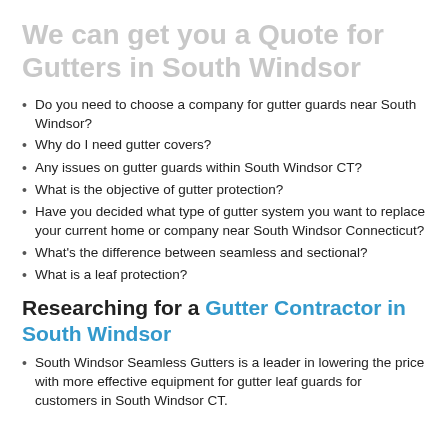We can get you a Quote for Gutters in South Windsor
Do you need to choose a company for gutter guards near South Windsor?
Why do I need gutter covers?
Any issues on gutter guards within South Windsor CT?
What is the objective of gutter protection?
Have you decided what type of gutter system you want to replace your current home or company near South Windsor Connecticut?
What's the difference between seamless and sectional?
What is a leaf protection?
Researching for a Gutter Contractor in South Windsor
South Windsor Seamless Gutters is a leader in lowering the price with more effective equipment for gutter leaf guards for customers in South Windsor CT.